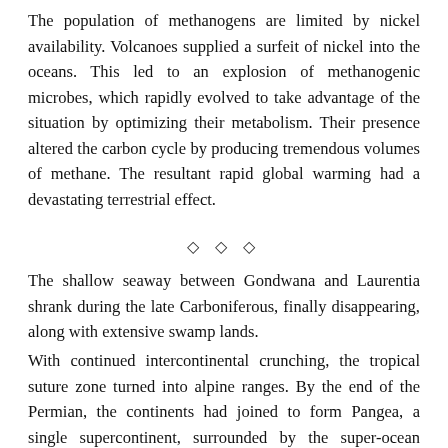The population of methanogens are limited by nickel availability. Volcanoes supplied a surfeit of nickel into the oceans. This led to an explosion of methanogenic microbes, which rapidly evolved to take advantage of the situation by optimizing their metabolism. Their presence altered the carbon cycle by producing tremendous volumes of methane. The resultant rapid global warming had a devastating terrestrial effect.
◇ ◇ ◇
The shallow seaway between Gondwana and Laurentia shrank during the late Carboniferous, finally disappearing, along with extensive swamp lands.
With continued intercontinental crunching, the tropical suture zone turned into alpine ranges. By the end of the Permian, the continents had joined to form Pangea, a single supercontinent, surrounded by the super-ocean Panthalassa.